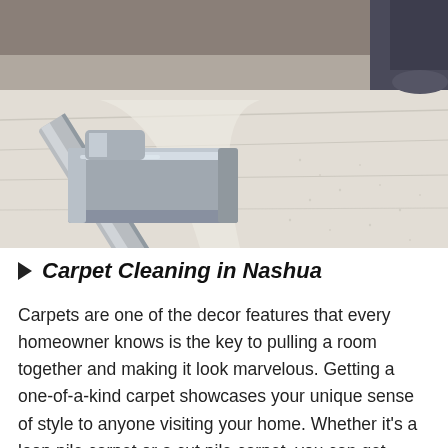[Figure (photo): Close-up photo of a metal carpet cleaning wand/nozzle pressed against a light cream/beige carpet, showing a cleaning track. A person's legs in dark pants are visible in the upper right corner.]
Carpet Cleaning in Nashua
Carpets are one of the decor features that every homeowner knows is the key to pulling a room together and making it look marvelous. Getting a one-of-a-kind carpet showcases your unique sense of style to anyone visiting your home. Whether it's a loop pile carpet or a cut pile carpet, you can get different designs